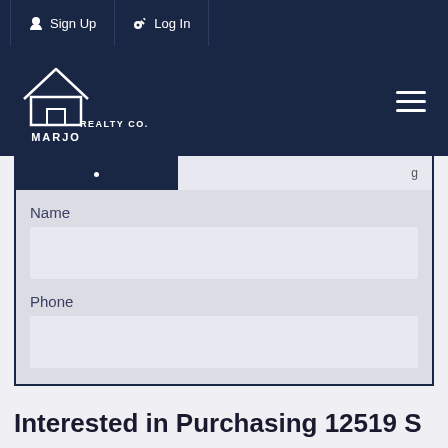Sign Up | Log In
[Figure (logo): Marjo Realty Co. logo — white house outline with text MARJO REALTY CO. on dark navy background]
Name
Phone
Interested in Purchasing 12519 S